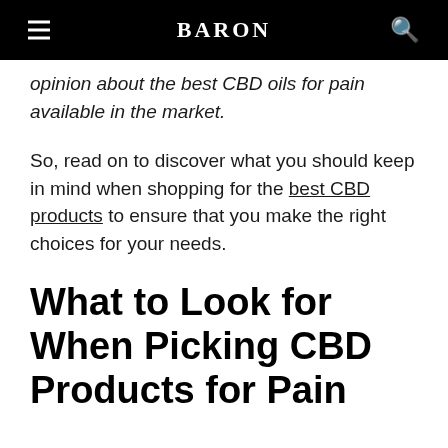BARON
opinion about the best CBD oils for pain available in the market.
So, read on to discover what you should keep in mind when shopping for the best CBD products to ensure that you make the right choices for your needs.
What to Look for When Picking CBD Products for Pain